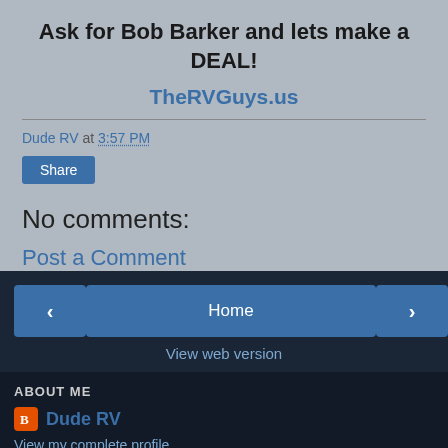Ask for Bob Barker and lets make a DEAL!
TheRVGuys.us
Dude RV at 3:57 PM
Share
No comments:
Post a Comment
Home
View web version
ABOUT ME
Dude RV
View my complete profile